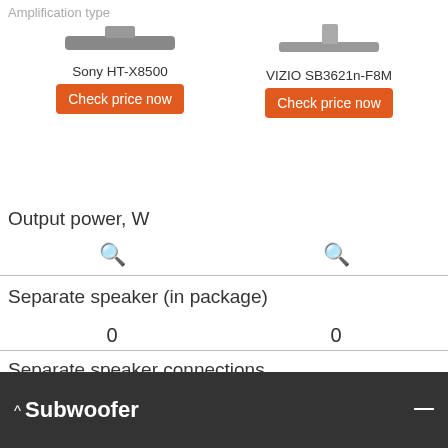Amplification type
Sony HT-X8500
Check price now
VIZIO SB3621n-F8M
Check price now
Output power, W
🔍
🔍
Separate speaker (in package)
0
0
Separate speaker connections
🔍
has not
Subwoofer